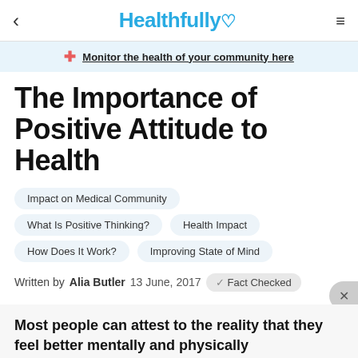< Healthfully ♥ ≡
Monitor the health of your community here
The Importance of Positive Attitude to Health
Impact on Medical Community
What Is Positive Thinking?
Health Impact
How Does It Work?
Improving State of Mind
Written by  Alia Butler  13 June, 2017  ✓  Fact Checked
Most people can attest to the reality that they feel better mentally and physically